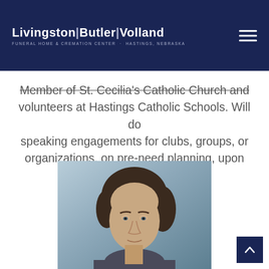Livingston|Butler|Volland Funeral Home & Cremation Center · Hastings, Nebraska
Member of St. Cecilia's Catholic Church and volunteers at Hastings Catholic Schools. Will do speaking engagements for clubs, groups, or organizations, on pre-need planning, upon request.
[Figure (photo): Portrait photo of a middle-aged man with brown hair against a grey-blue background]